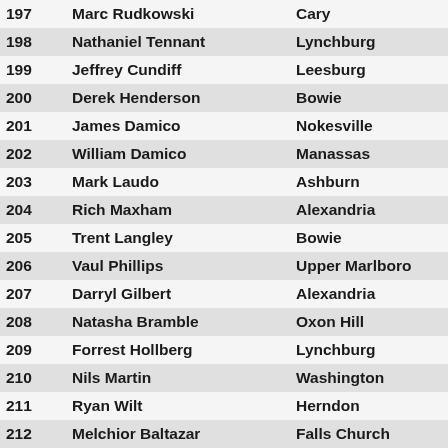| # | Name | City |
| --- | --- | --- |
| 197 | Marc Rudkowski | Cary |
| 198 | Nathaniel Tennant | Lynchburg |
| 199 | Jeffrey Cundiff | Leesburg |
| 200 | Derek Henderson | Bowie |
| 201 | James Damico | Nokesville |
| 202 | William Damico | Manassas |
| 203 | Mark Laudo | Ashburn |
| 204 | Rich Maxham | Alexandria |
| 205 | Trent Langley | Bowie |
| 206 | Vaul Phillips | Upper Marlboro |
| 207 | Darryl Gilbert | Alexandria |
| 208 | Natasha Bramble | Oxon Hill |
| 209 | Forrest Hollberg | Lynchburg |
| 210 | Nils Martin | Washington |
| 211 | Ryan Wilt | Herndon |
| 212 | Melchior Baltazar | Falls Church |
| 213 | Stephen Oparka | Arlington |
| 214 | Philip Suggs III | District Heights |
| 215 | Toya Mack | Upper Marlboro |
| 216 | Minh-Huy Nguyen | Lorton |
| 217 | Mark MacDonald | Alexandria |